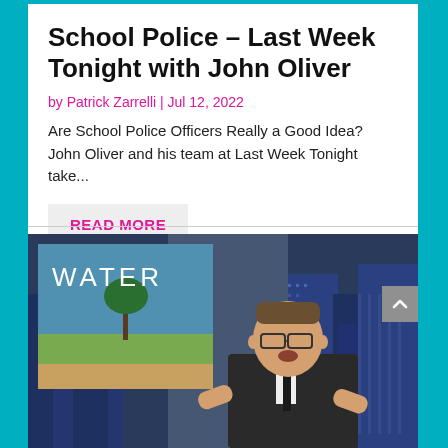School Police – Last Week Tonight with John Oliver
by Patrick Zarrelli | Jul 12, 2022
Are School Police Officers Really a Good Idea? John Oliver and his team at Last Week Tonight take...
READ MORE
[Figure (screenshot): Screenshot from a Last Week Tonight episode showing John Oliver at his desk with a 'WATER' book cover displayed on screen behind him. Background shows a stylized blue city skyline set.]